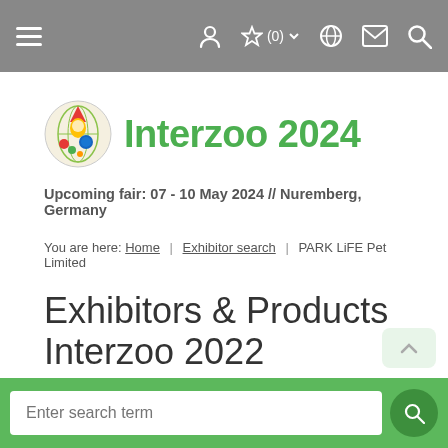[Figure (screenshot): Top navigation bar with hamburger menu icon on the left and user, favorites, globe, mail, and search icons on the right, on a grey background]
[Figure (logo): Interzoo circular logo with cartoon gnome character]
Interzoo 2024
Upcoming fair: 07 - 10 May 2024 // Nuremberg, Germany
You are here: Home | Exhibitor search | PARK LiFE Pet Limited
Exhibitors & Products Interzoo 2022
[Figure (screenshot): Green search bar with text input field showing placeholder 'Enter search term' and a dark green circular search button]